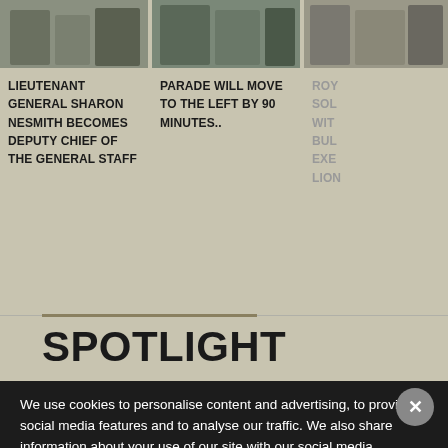[Figure (photo): Photo of Lieutenant General Sharon Nesmith in military uniform on a street]
LIEUTENANT GENERAL SHARON NESMITH BECOMES DEPUTY CHIEF OF THE GENERAL STAFF
[Figure (photo): Photo of people at a parade]
PARADE WILL MOVE TO THE LEFT BY 90 MINUTES..
[Figure (photo): Partially visible photo on right side]
ROY SOL WIT BUL EXE LION
SPOTLIGHT
We use cookies to personalise content and advertising, to provide social media features and to analyse our traffic. We also share information about your use of our site with our social media, advertising and analytics partners. If you would like an experience that is tailored to you, click 'Accept All Cookies'. Alternatively, you can manage your Cookie Settings.
Cookies Settings
Accept All Cookies